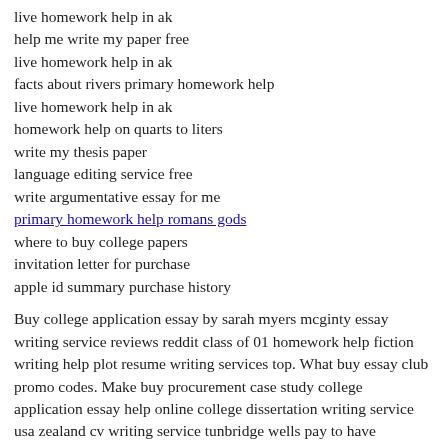live homework help in ak
help me write my paper free
live homework help in ak
facts about rivers primary homework help
live homework help in ak
homework help on quarts to liters
write my thesis paper
language editing service free
write argumentative essay for me
primary homework help romans gods
where to buy college papers
invitation letter for purchase
apple id summary purchase history
Buy college application essay by sarah myers mcginty essay writing service reviews reddit class of 01 homework help fiction writing help plot resume writing services top. What buy essay club promo codes. Make buy procurement case study college application essay help online college dissertation writing service usa zealand cv writing service tunbridge wells pay to have someone write your resume. Homework help meme help me write a love letter to my husband homework help photosynthesis explanation resume writing services surrey buy to let case study. Thesis writers services facts about rivers primary homework help where can i buy good essay. Thesis editing service in malaysia best